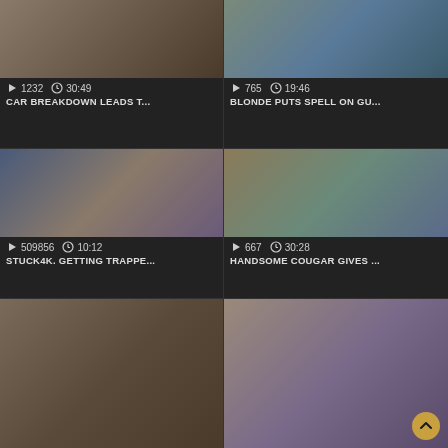[Figure (screenshot): Video thumbnail grid showing adult video platform with 6 video cards in 2-column, 3-row layout. Each card has a thumbnail image, play count, duration, and title.]
1232  30:49  CAR BREAKDOWN LEADS T...
765  19:46  BLONDE PUTS SPELL ON GU...
509856  10:12  STUCK4K. GETTING TRAPPE...
667  30:28  HANDSOME COUGAR GIVES ...